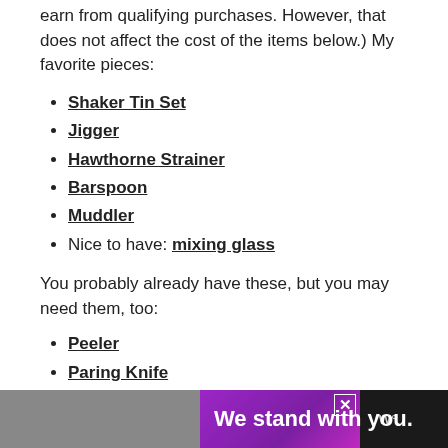earn from qualifying purchases. However, that does not affect the cost of the items below.) My favorite pieces:
Shaker Tin Set
Jigger
Hawthorne Strainer
Barspoon
Muddler
Nice to have: mixing glass
You probably already have these, but you may need them, too:
Peeler
Paring Knife
[Figure (other): Advertisement banner: dark background with 'We stand with you.' text in white bold, with a purple/gradient section and a close button (X). Logo 'W°' appears on the right.]